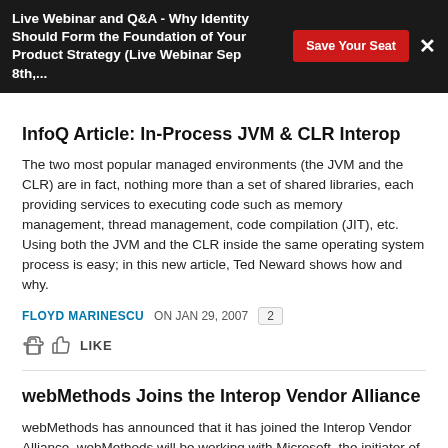Live Webinar and Q&A - Why Identity Should Form the Foundation of Your Product Strategy (Live Webinar Sep 8th,... | Save Your Seat | ×
InfoQ Article: In-Process JVM & CLR Interop
The two most popular managed environments (the JVM and the CLR) are in fact, nothing more than a set of shared libraries, each providing services to executing code such as memory management, thread management, code compilation (JIT), etc. Using both the JVM and the CLR inside the same operating system process is easy; in this new article, Ted Neward shows how and why.
FLOYD MARINESCU ON JAN 29, 2007  2  LIKE
webMethods Joins the Interop Vendor Alliance
webMethods has announced that it has joined the Interop Vendor Alliance. webMethods will be working with Microsoft, the initiator of this collaborative effort, and